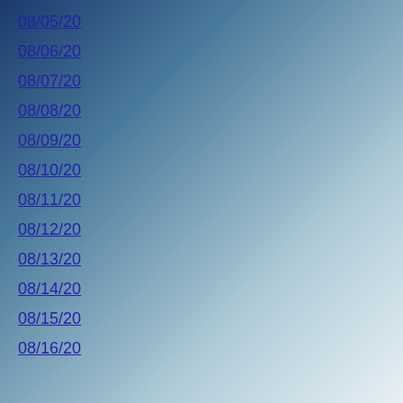08/05/20
08/06/20
08/07/20
08/08/20
08/09/20
08/10/20
08/11/20
08/12/20
08/13/20
08/14/20
08/15/20
08/16/20